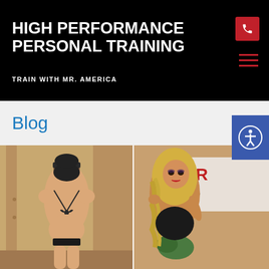HIGH PERFORMANCE PERSONAL TRAINING
TRAIN WITH MR. AMERICA
Blog
[Figure (photo): Before and after fitness transformation photos: left image shows a woman from behind wearing a bikini and baseball cap; right image shows a blonde woman in competition fitness attire posing at what appears to be a fitness competition]